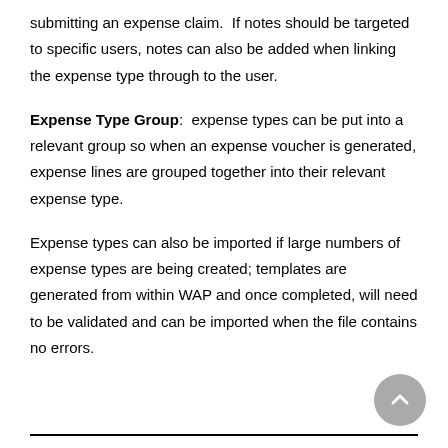submitting an expense claim.  If notes should be targeted to specific users, notes can also be added when linking the expense type through to the user.
Expense Type Group:  expense types can be put into a relevant group so when an expense voucher is generated, expense lines are grouped together into their relevant expense type.
Expense types can also be imported if large numbers of expense types are being created; templates are generated from within WAP and once completed, will need to be validated and can be imported when the file contains no errors.